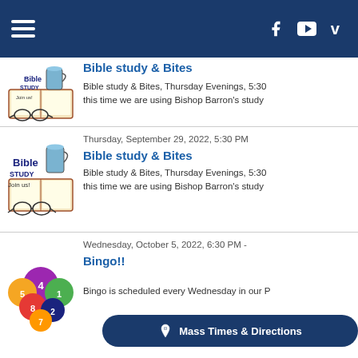Navigation bar with hamburger menu, Facebook, YouTube, Vimeo icons
[Figure (illustration): Bible Study Join us! clip art with open bible, glasses, and coffee mug (first entry, partially visible)]
Bible study & Bites
Bible study & Bites, Thursday Evenings, 5:30 ... this time we are using Bishop Barron's study
[Figure (illustration): Bible Study Join us! clip art with open bible, glasses, and coffee mug (second entry)]
Thursday, September 29, 2022, 5:30 PM
Bible study & Bites
Bible study & Bites, Thursday Evenings, 5:30 ... this time we are using Bishop Barron's study
[Figure (illustration): Colorful pool/bingo balls clustered together]
Wednesday, October 5, 2022, 6:30 PM -
Bingo!!
Bingo is scheduled every Wednesday in our P